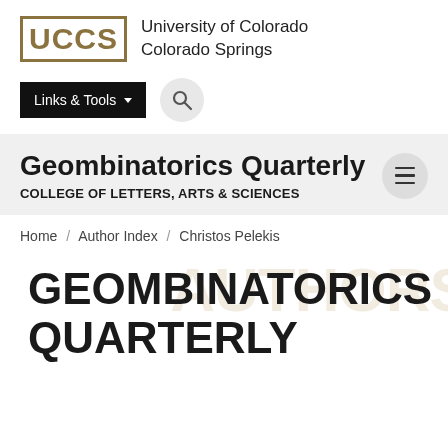University of Colorado Colorado Springs
[Figure (logo): UCCS logo with gold block letters and university name]
[Figure (screenshot): Links & Tools dropdown button and search icon]
Geombinatorics Quarterly
COLLEGE OF LETTERS, ARTS & SCIENCES
Home / Author Index / Christos Pelekis
GEOMBINATORICS QUARTERLY